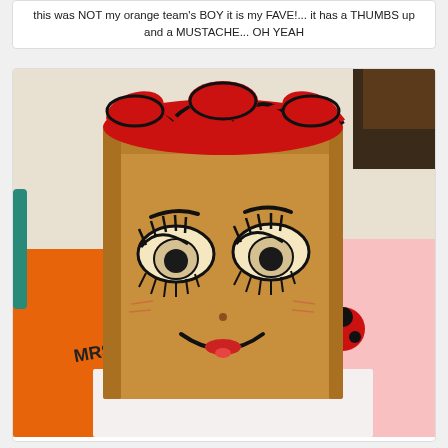this was NOT my orange team's BOY it is my FAVE!... it has a THUMBS up and a MUSTACHE... OH YEAH
[Figure (photo): A brown paper bag puppet with a face drawn on it featuring large eyes with eyelashes, a smile, and red lips. The top of the bag has red and black braided yarn or fabric as hair. The bag sits on a colorful table with orange, pink, and white papers visible in the background.]